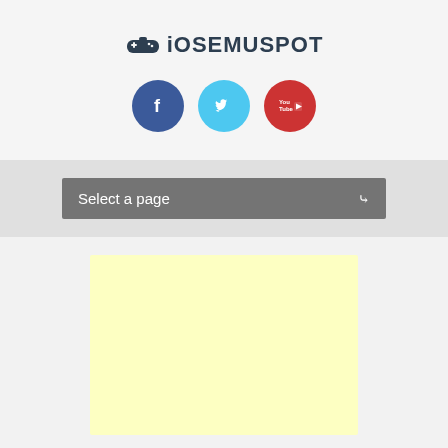[Figure (logo): iOSEMUSPOT logo with gamepad icon]
[Figure (infographic): Three social media icons: Facebook (dark blue circle with f), Twitter (light blue circle with bird), YouTube (red circle with play button and 'You Tube' text)]
Select a page
[Figure (other): Yellow/cream colored advertisement placeholder box]